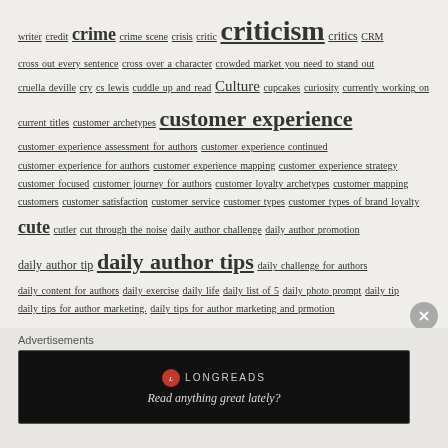writer credit crime crime scene crisis critic criticism critics CRM cross out every sentence cross over a character crowded market you need to stand out cruella deville cry cs lewis cuddle up and read Culture cupcakes curiosity currently working on current titles customer archetypes customer experience customer experience assessment for authors customer experience continued customer experience for authors customer experience mapping customer experience strategy customer focused customer journey for authors customer loyalty archetypes customer mapping customers customer satisfaction customer service customer types customer types of brand loyalty cute cutler cut through the noise daily author challenge daily author promotion daily author tip daily author tips daily challenge for authors daily content for authors daily exercise daily life daily list of 5 daily photo prompt daily tip daily tips for author marketing. daily tips for author marketing and prmotion daily tips for author promotion daily tips for authors daily tips for authro daily writing prompt challenge for authors dale shipley dance danced through the pages dani casas daniel Hahn darling buds dash data data mining dates David Barr Kirtley day day 2 day a little
Advertisements
[Figure (other): Longreads advertisement banner with logo and tagline 'Read anything great lately?']